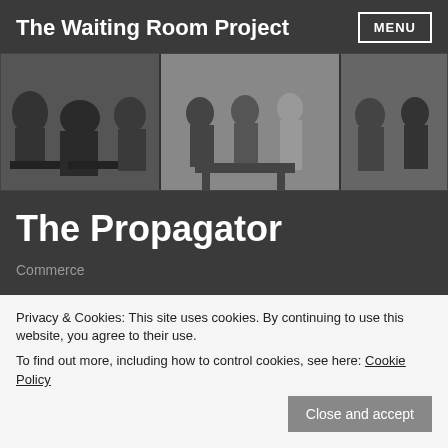The Waiting Room Project
[Figure (photo): Black and white panoramic photo of a waiting room with people seated in various chairs]
The Propagator
Commerce
[Figure (photo): Partial view of another black and white photo below]
Privacy & Cookies: This site uses cookies. By continuing to use this website, you agree to their use.
To find out more, including how to control cookies, see here: Cookie Policy
Close and accept